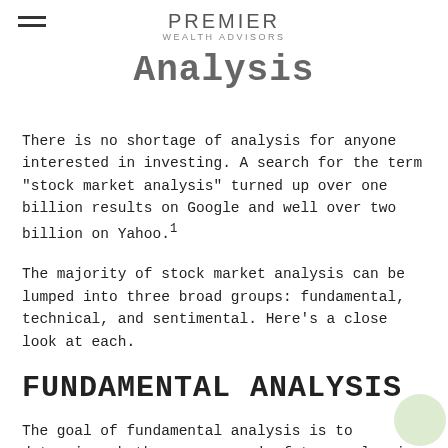PREMIER WEALTH ADVISORS
Analysis
There is no shortage of analysis for anyone interested in investing. A search for the term "stock market analysis" turned up over one billion results on Google and well over two billion on Yahoo.1
The majority of stock market analysis can be lumped into three broad groups: fundamental, technical, and sentimental. Here's a close look at each.
FUNDAMENTAL ANALYSIS
The goal of fundamental analysis is to determine whether a company’s future value is accurately reflected in its current